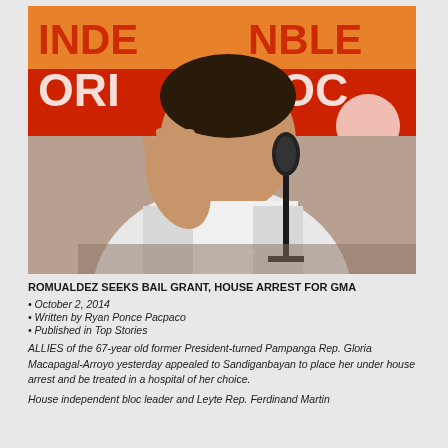[Figure (photo): Man in white shirt gesturing at a press conference with microphone in front, orange and red banner in the background reading 'INDEPENDENT BLOC']
ROMUALDEZ SEEKS BAIL GRANT, HOUSE ARREST FOR GMA
• October 2, 2014
• Written by Ryan Ponce Pacpaco
• Published in Top Stories
ALLIES of the 67-year old former President-turned Pampanga Rep. Gloria Macapagal-Arroyo yesterday appealed to Sandiganbayan to place her under house arrest and be treated in a hospital of her choice.
House independent bloc leader and Leyte Rep. Ferdinand Martin